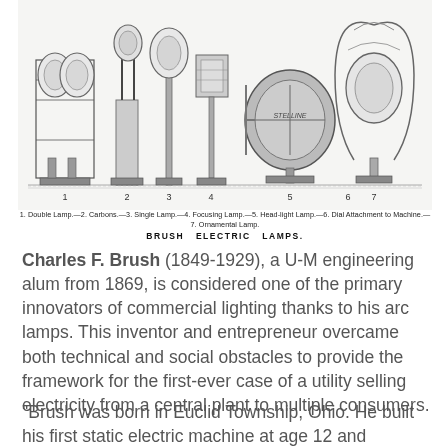[Figure (illustration): Black and white engraving of Brush Electric Lamps, showing 7 numbered items: 1. Double Lamp, 2. Carbons, 3. Single Lamp, 4. Focusing Lamp, 5. Head-light Lamp, 6. Dial Attachment to Machine, 7. Ornamental Lamp.]
1. Double Lamp.—2. Carbons.—3. Single Lamp.—4. Focusing Lamp.—5. Head-light Lamp.—6. Dial Attachment to Machine.—7. Ornamental Lamp.
BRUSH ELECTRIC LAMPS.
Charles F. Brush (1849-1929), a U-M engineering alum from 1869, is considered one of the primary innovators of commercial lighting thanks to his arc lamps. This inventor and entrepreneur overcame both technical and social obstacles to provide the framework for the first-ever case of a utility selling electricity from a central plant to multiple consumers.
“Brush was born in Euclid Township, Ohio. He built his first static electric machine at age 12 and